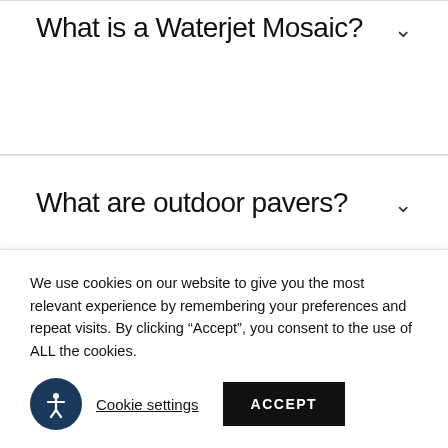What is a Waterjet Mosaic?
What are outdoor pavers?
We use cookies on our website to give you the most relevant experience by remembering your preferences and repeat visits. By clicking “Accept”, you consent to the use of ALL the cookies.
Cookie settings
ACCEPT